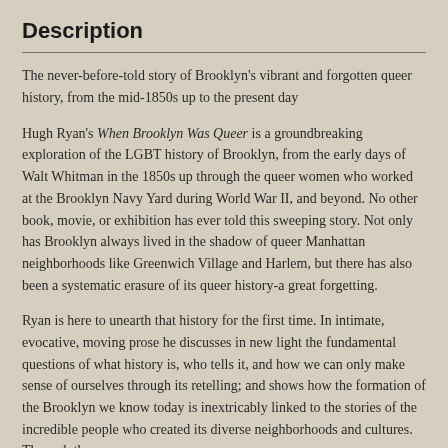Description
The never-before-told story of Brooklyn's vibrant and forgotten queer history, from the mid-1850s up to the present day
Hugh Ryan's When Brooklyn Was Queer is a groundbreaking exploration of the LGBT history of Brooklyn, from the early days of Walt Whitman in the 1850s up through the queer women who worked at the Brooklyn Navy Yard during World War II, and beyond. No other book, movie, or exhibition has ever told this sweeping story. Not only has Brooklyn always lived in the shadow of queer Manhattan neighborhoods like Greenwich Village and Harlem, but there has also been a systematic erasure of its queer history-a great forgetting.
Ryan is here to unearth that history for the first time. In intimate, evocative, moving prose he discusses in new light the fundamental questions of what history is, who tells it, and how we can only make sense of ourselves through its retelling; and shows how the formation of the Brooklyn we know today is inextricably linked to the stories of the incredible people who created its diverse neighborhoods and cultures. Through them,